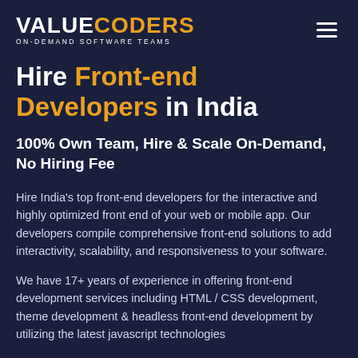[Figure (logo): ValueCoders logo — 'VALUE' in white bold uppercase, 'CODERS' in orange/gold bold uppercase, with tagline 'ON-DEMAND SOFTWARE TEAMS' below in white small caps]
Hire Front-end Developers in India
100% Own Team, Hire & Scale On-Demand, No Hiring Fee
Hire India's top front-end developers for the interactive and highly optimized front end of your web or mobile app. Our developers compile comprehensive front-end solutions to add interactivity, scalability, and responsiveness to your software.
We have 17+ years of experience in offering front-end development services including HTML / CSS development, theme development & headless front-end development by utilizing the latest javascript technologies